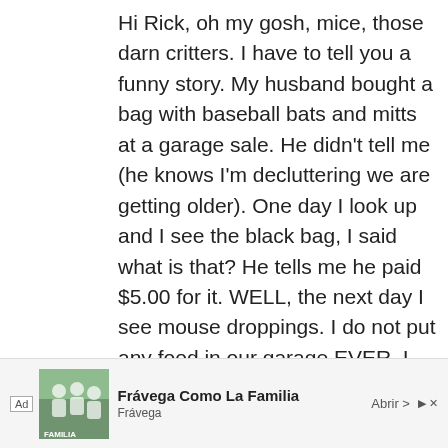Hi Rick, oh my gosh, mice, those darn critters. I have to tell you a funny story. My husband bought a bag with baseball bats and mitts at a garage sale. He didn't tell me (he knows I'm decluttering we are getting older). One day I look up and I see the black bag, I said what is that? He tells me he paid $5.00 for it. WELL, the next day I see mouse droppings. I do not put any food in our garage EVER. I live in the desert and I swear they thought this was a family reunion. I see popcorn here and there in the garage. (I'm assuming from the baseball games). I clean the garage, not Mark. I'm OCD and
[Figure (other): Advertisement banner: Frávega Como La Familia — Frávega, with an Abrir button and close/play icons]